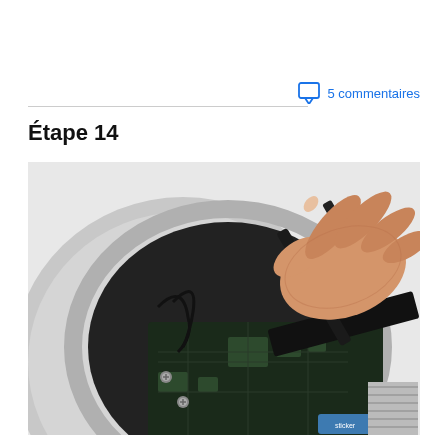5 commentaires
Étape 14
[Figure (photo): A Mac Mini computer opened from below, showing internal components including logic board with chips and cables. A hand is holding a black spudger tool and prying out what appears to be a RAM or hard drive module from the interior of the device. The silver aluminum casing is visible along with various connectors and antenna cables inside.]